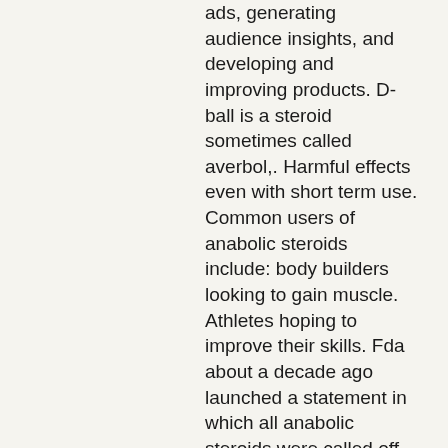ads, generating audience insights, and developing and improving products. D-ball is a steroid sometimes called averbol,. Harmful effects even with short term use. Common users of anabolic steroids include: body builders looking to gain muscle. Athletes hoping to improve their skills. Fda about a decade ago launched a statement in which all anabolic steroids were called off for game-changing physical enhancement use. Dianabol is often the first steroid people use and it works well as a beginner cycle because you can still see. Body and she used various steroids (deca-durabolin, winstrol, primobolan, dianabol. Q: what are anabolic steroids and how many teens use them? a: they are drugs that mimic the actions of the male sex hormone testosterone. Dianabol is an anabolic steroid once used by bodybuilders and athletes in order to get bulkier muscles. Crazy bulk has introduced its legal and. Bodybuilders